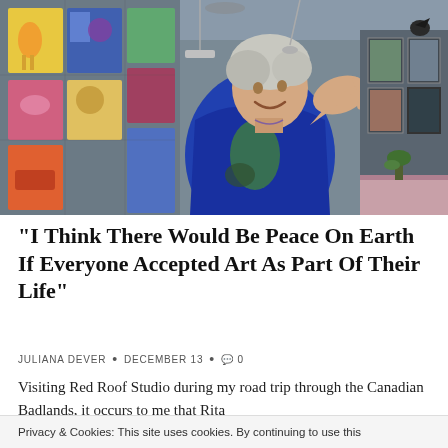[Figure (photo): A smiling older woman with short white/grey hair, wearing a bright blue top with green and black design, gesturing with her right hand raised. She is standing in an art studio or gallery with colorful paintings displayed on a grid wall behind her, and more artwork visible in the background.]
“I Think There Would Be Peace On Earth If Everyone Accepted Art As Part Of Their Life”
JULIANA DEVER • DECEMBER 13 • 💬 0
Visiting Red Roof Studio during my road trip through the Canadian Badlands, it occurs to me that Rita
Privacy & Cookies: This site uses cookies. By continuing to use this